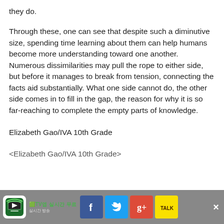they do.
Through these, one can see that despite such a diminutive size, spending time learning about them can help humans become more understanding toward one another. Numerous dissimilarities may pull the rope to either side, but before it manages to break from tension, connecting the facts aid substantially. What one side cannot do, the other side comes in to fill in the gap, the reason for why it is so far-reaching to complete the empty parts of knowledge.
Elizabeth Gao/IVA 10th Grade
<Elizabeth Gao/IVA 10th Grade>
[Figure (screenshot): Mobile browser footer bar with app icon, Korean TV app label, and social media share buttons (Facebook, Twitter, Google+, KakaoTalk) with a close X button on gray background.]